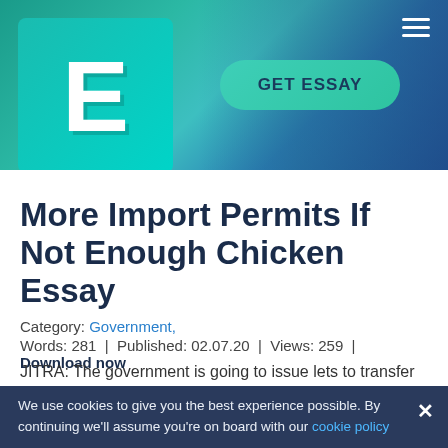[Figure (logo): E-essay website logo with 3D letter E on teal background, with GET ESSAY button and gradient header banner]
More Import Permits If Not Enough Chicken Essay
Category: Government,
Words: 281 | Published: 02.07.20 | Views: 259 | Download now
JITRA: The government is going to issue lets to transfer chicken as long as there is a scarcity. Deputy
We use cookies to give you the best experience possible. By continuing we'll assume you're on board with our cookie policy